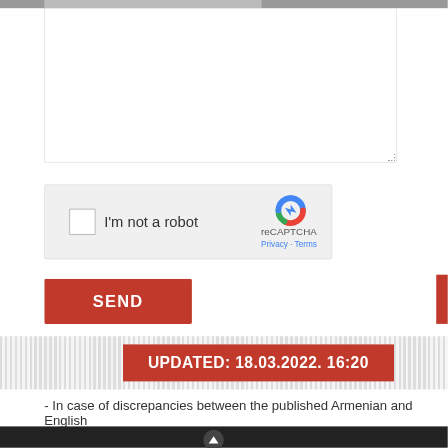[Figure (screenshot): Textarea input field with gray tab bar at top, white background, resize handle at bottom-right corner]
[Figure (screenshot): reCAPTCHA widget with checkbox, 'I'm not a robot' text, reCAPTCHA logo, Privacy and Terms links on light gray background]
SEND
UPDATED: 18.03.2022. 16:20
- In case of discrepancies between the published Armenian and English